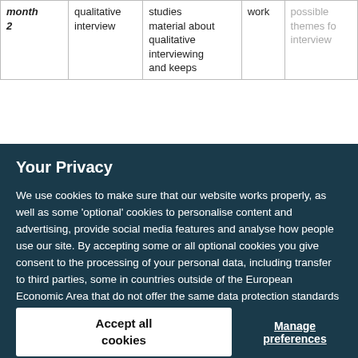| month 2 | qualitative interview | studies material about qualitative interviewing and keeps | work | possible themes for interview |
Your Privacy
We use cookies to make sure that our website works properly, as well as some 'optional' cookies to personalise content and advertising, provide social media features and analyse how people use our site. By accepting some or all optional cookies you give consent to the processing of your personal data, including transfer to third parties, some in countries outside of the European Economic Area that do not offer the same data protection standards as the country where you live. You can decide which optional cookies to accept by clicking on 'Manage Settings', where you can also find more information about how your personal data is processed. Further information can be found in our privacy policy.
Accept all cookies
Manage preferences